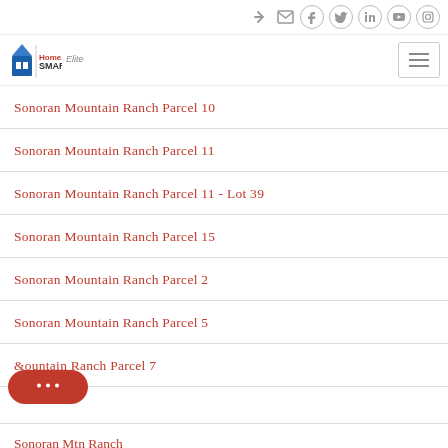Navigation icons: login, email, facebook, twitter, linkedin, youtube, instagram
[Figure (logo): The Valley Solutions Team and HomeSmart Elite Group logos]
Sonoran Mountain Ranch Parcel 10
Sonoran Mountain Ranch Parcel 11
Sonoran Mountain Ranch Parcel 11 - Lot 39
Sonoran Mountain Ranch Parcel 15
Sonoran Mountain Ranch Parcel 2
Sonoran Mountain Ranch Parcel 5
Sonoran Mountain Ranch Parcel 7
Sonoran Mtn Ranch